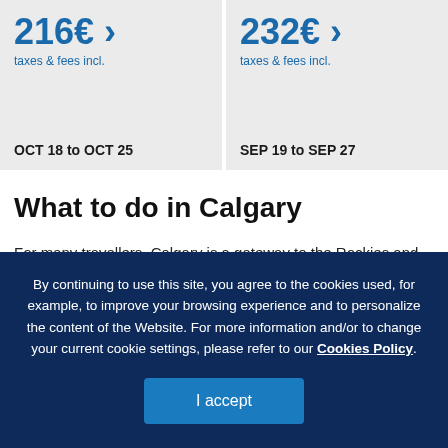216€ > taxes & fees incl. OCT 18 to OCT 25
232€ > taxes & fees incl. SEP 19 to SEP 27
What to do in Calgary
For many travellers, Calgary is a gateway to the Rockies and the
By continuing to use this site, you agree to the cookies used, for example, to improve your browsing experience and to personalize the content of the Website. For more information and/or to change your current cookie settings, please refer to our Cookies Policy.
I accept